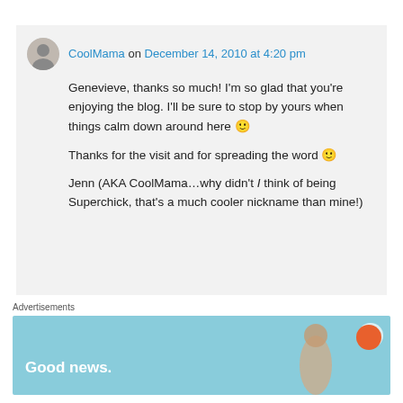CoolMama on December 14, 2010 at 4:20 pm
Genevieve, thanks so much! I'm so glad that you're enjoying the blog. I'll be sure to stop by yours when things calm down around here 🙂

Thanks for the visit and for spreading the word 🙂

Jenn (AKA CoolMama…why didn't I think of being Superchick, that's a much cooler nickname than mine!)
Advertisements
[Figure (other): Advertisement banner showing 'Good news.' text with a person and orange ball, light blue background]